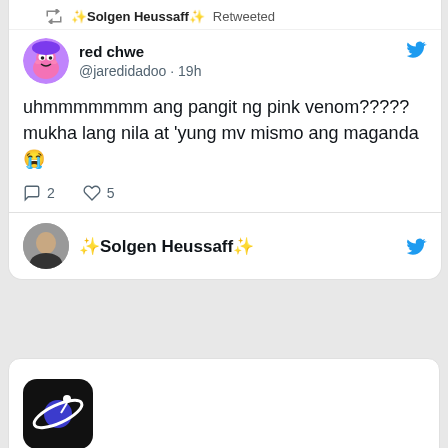✨Solgen Heussaff✨ Retweeted
red chwe @jaredidadoo · 19h
uhmmmmmmm ang pangit ng pink venom????? mukha lang nila at 'yung mv mismo ang maganda😭
💬 2  ♡ 5
✨Solgen Heussaff✨
[Figure (logo): Dark app icon with planet/orbit logo]